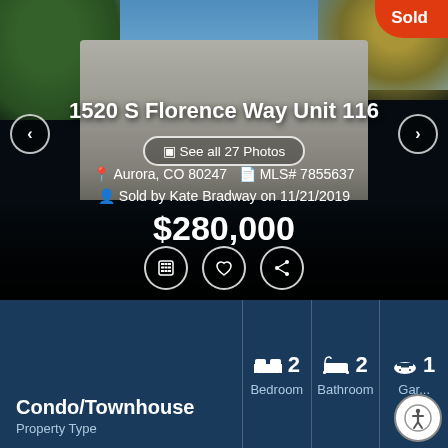[Figure (photo): Exterior photo of townhouse/condo at 1520 S Florence Way Unit 116 in Aurora, CO with trees and blue sky]
1520 S Florence Way Unit 116
See all 27 Photos
Aurora, CO 80247  MLS# 7855637
Sold by Kate Bradway on 11/21/2019
$280,000
Sold
2 Bedroom
2 Bathroom
1 Garage
Condo/Townhouse
Property Type